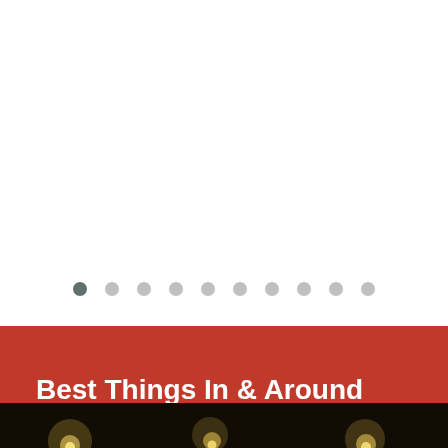[Figure (other): Slideshow pagination dots — one dark dot (active/first) followed by nine lighter grey dots arranged in a horizontal row]
Best Things In & Around Newport, NY
[Figure (photo): Dark photograph with bokeh lights visible at the bottom of the page — appears to be a night scene with warm yellow circular light bokeh effects against a very dark background]